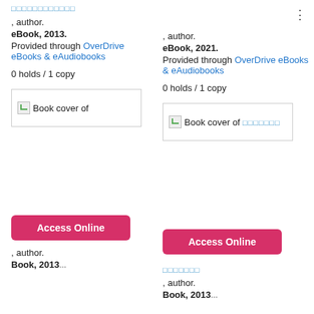□□□□□□□□□□□□
:
, author.
eBook, 2013.
Provided through OverDrive eBooks & eAudiobooks
0 holds / 1 copy
, author.
eBook, 2021.
Provided through OverDrive eBooks & eAudiobooks
0 holds / 1 copy
[Figure (other): Book cover placeholder image (broken image icon) labeled 'Book cover of']
[Figure (other): Book cover placeholder image (broken image icon) labeled 'Book cover of □□□□□□□']
Access Online
Access Online
□□□□□□□
, author.
, author.